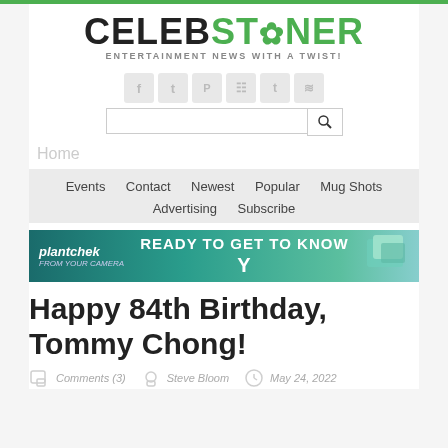CELEBSTONER — ENTERTAINMENT NEWS WITH A TWIST!
[Figure (logo): CelebStoner logo with green cannabis leaf replacing the O, tagline: ENTERTAINMENT NEWS WITH A TWIST!]
[Figure (infographic): Social media icons: Facebook, Twitter, Pinterest, Instagram, Tumblr, RSS]
[Figure (screenshot): Search bar with magnifying glass icon]
Home
Events   Contact   Newest   Popular   Mug Shots   Advertising   Subscribe
[Figure (infographic): Plantchek advertisement banner: READY TO GET TO KNOW Y]
Happy 84th Birthday, Tommy Chong!
Comments (3)   Steve Bloom   May 24, 2022